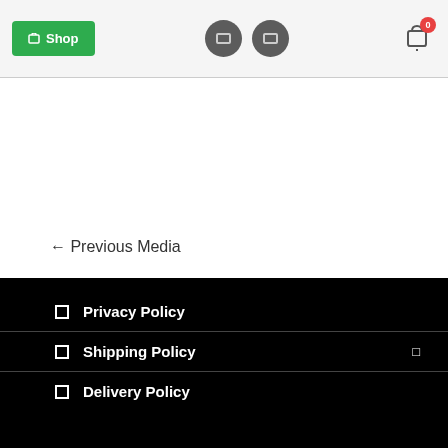Shop navigation bar with shop button, two icon buttons, and cart with badge 0
← Previous Media
Privacy Policy
Shipping Policy
Delivery Policy